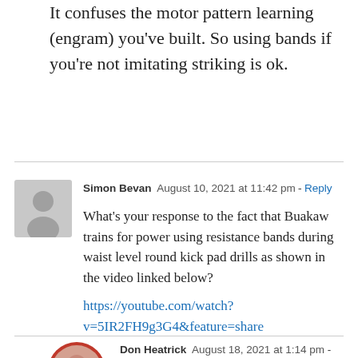It confuses the motor pattern learning (engram) you've built. So using bands if you're not imitating striking is ok.
Simon Bevan  August 10, 2021 at 11:42 pm - Reply
What's your response to the fact that Buakaw trains for power using resistance bands during waist level round kick pad drills as shown in the video linked below?
https://youtube.com/watch?v=5IR2FH9g3G4&feature=share
Don Heatrick  August 18, 2021 at 1:14 pm - Reply